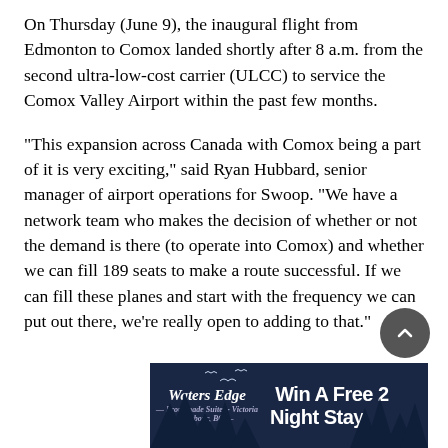On Thursday (June 9), the inaugural flight from Edmonton to Comox landed shortly after 8 a.m. from the second ultra-low-cost carrier (ULCC) to service the Comox Valley Airport within the past few months.
“This expansion across Canada with Comox being a part of it is very exciting,” said Ryan Hubbard, senior manager of airport operations for Swoop. “We have a network team who makes the decision of whether or not the demand is there (to operate into Comox) and whether we can fill 189 seats to make a route successful. If we can fill these planes and start with the frequency we can put out there, we’re really open to adding to that.”
[Figure (other): Advertisement banner for Waters Edge reading 'Win A Free 2 Night Stay' with dark navy background and trees silhouette]